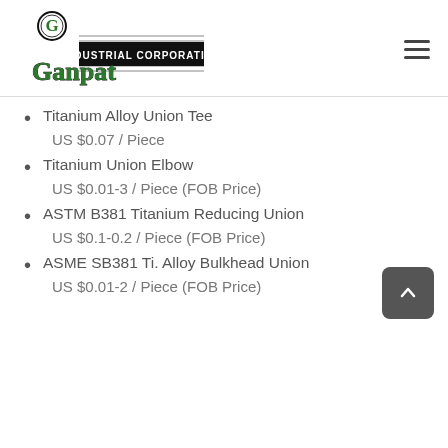[Figure (logo): Ganpat Industrial Corporation logo — green stylized 'Ganpat' text with 'G' emblem and black banner reading 'INDUSTRIAL CORPORATION']
Titanium Alloy Union Tee
US $0.07 / Piece
Titanium Union Elbow
US $0.01-3 / Piece (FOB Price)
ASTM B381 Titanium Reducing Union
US $0.1-0.2 / Piece (FOB Price)
ASME SB381 Ti. Alloy Bulkhead Union
US $0.01-2 / Piece (FOB Price)